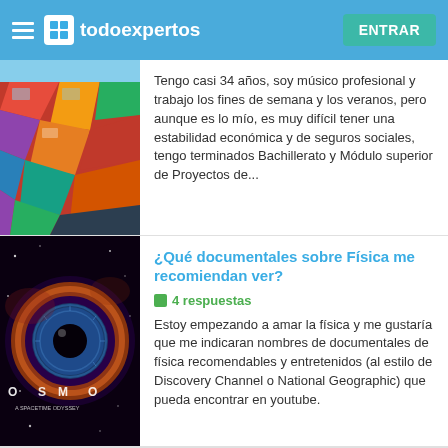todoexpertos — ENTRAR
Tengo casi 34 años, soy músico profesional y trabajo los fines de semana y los veranos, pero aunque es lo mío, es muy difícil tener una estabilidad económica y de seguros sociales, tengo terminados Bachillerato y Módulo superior de Proyectos de...
¿Qué documentales sobre Física me recomiendan ver?
4 respuestas
Estoy empezando a amar la física y me gustaría que me indicaran nombres de documentales de física recomendables y entretenidos (al estilo de Discovery Channel o National Geographic) que pueda encontrar en youtube.